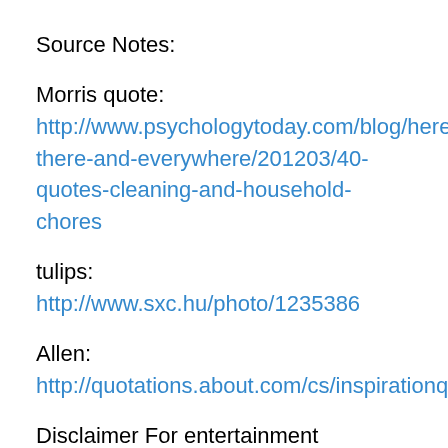Source Notes:
Morris quote: http://www.psychologytoday.com/blog/here-there-and-everywhere/201203/40-quotes-cleaning-and-household-chores
tulips: http://www.sxc.hu/photo/1235386
Allen:
http://quotations.about.com/cs/inspirationquotes/a/Thought3.htm
Disclaimer For entertainment purposes only. The information and data  contained on and through this site is to be treated purely for your    entertainment purposes only. Any prediction or other message that you receive is not a substitute for advice, programs, or treatment that